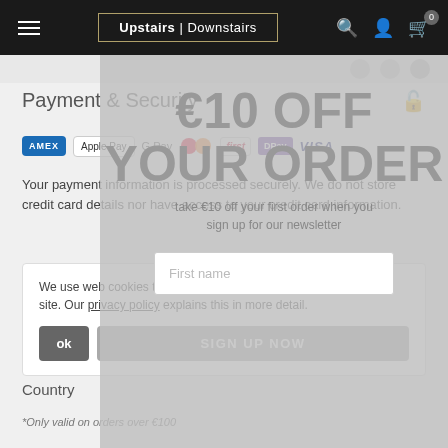Upstairs | Downstairs
€10 OFF YOUR ORDER
take €10 off your first order when you sign up for our newsletter
Payment & Security
Your payment information is processed securely. We do not store credit card details nor have access to your credit card information.
We use web cookies to improve your browsing experience on our site. Our privacy policy explains this in more detail.
ok
SIGN UP NOW
Country
*Only valid on orders over €100